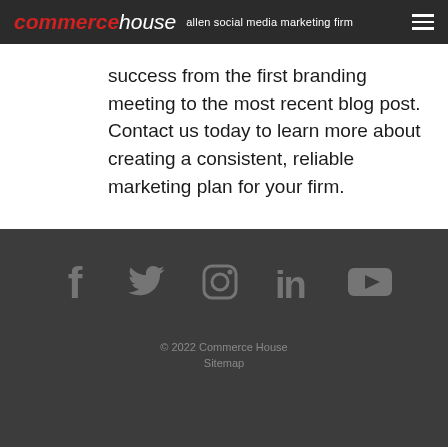commercehouse allen social media marketing firm
success from the first branding meeting to the most recent blog post. Contact us today to learn more about creating a consistent, reliable marketing plan for your firm.
[Figure (infographic): Social media icons row: Facebook, Twitter, Instagram, LinkedIn, YouTube — rendered in dark gray on dark background]
© 2022 Commerce House
Sitemap